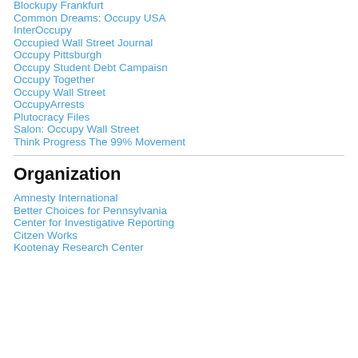Blockupy Frankfurt
Common Dreams: Occupy USA
InterOccupy
Occupied Wall Street Journal
Occupy Pittsburgh
Occupy Student Debt Campaisn
Occupy Together
Occupy Wall Street
OccupyArrests
Plutocracy Files
Salon: Occupy Wall Street
Think Progress The 99% Movement
Organization
Amnesty International
Better Choices for Pennsylvania
Center for Investigative Reporting
Citzen Works
Kootenay Research Center